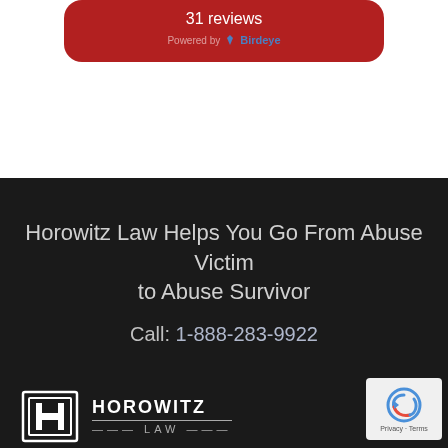[Figure (screenshot): Red rounded card showing '31 reviews' text and 'Powered by Birdeye' branding on white background]
Horowitz Law Helps You Go From Abuse Victim
to Abuse Survivor
Call: 1-888-283-9922
[Figure (logo): Horowitz Law logo with stylized H emblem and company name HOROWITZ LAW]